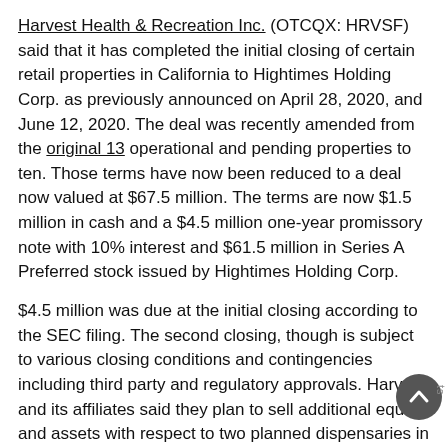Harvest Health & Recreation Inc. (OTCQX: HRVSF) said that it has completed the initial closing of certain retail properties in California to Hightimes Holding Corp. as previously announced on April 28, 2020, and June 12, 2020. The deal was recently amended from the original 13 operational and pending properties to ten. Those terms have now been reduced to a deal now valued at $67.5 million. The terms are now $1.5 million in cash and a $4.5 million one-year promissory note with 10% interest and $61.5 million in Series A Preferred stock issued by Hightimes Holding Corp.
$4.5 million was due at the initial closing according to the SEC filing. The second closing, though is subject to various closing conditions and contingencies including third party and regulatory approvals. Harvest and its affiliates said they plan to sell additional equity and assets with respect to two planned dispensaries in California for a total consideration of $6 million in Series A Preferred Stock issued by Hightimes.